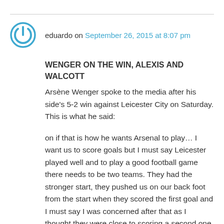eduardo on September 26, 2015 at 8:07 pm
WENGER ON THE WIN, ALEXIS AND WALCOTT
Arsène Wenger spoke to the media after his side's 5-2 win against Leicester City on Saturday. This is what he said:
on if that is how he wants Arsenal to play… I want us to score goals but I must say Leicester played well and to play a good football game there needs to be two teams. They had the stronger start, they pushed us on our back foot from the start when they scored the first goal and I must say I was concerned after that as I thought they were close to scoring a second one